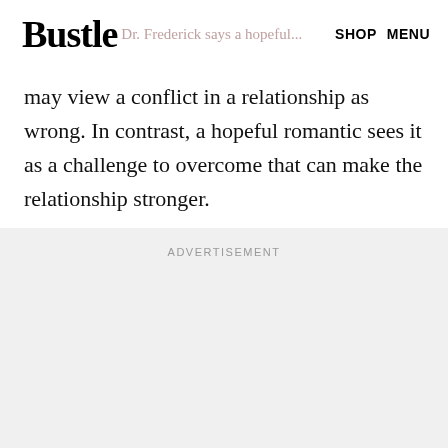Bustle   Dr. Frederick says a hopeful...   SHOP   MENU
may view a conflict in a relationship as wrong. In contrast, a hopeful romantic sees it as a challenge to overcome that can make the relationship stronger.
ADVERTISEMENT